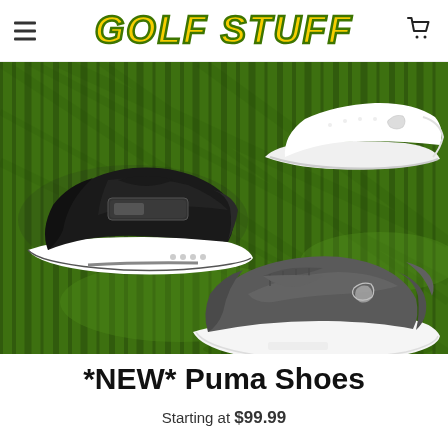GOLF STUFF
[Figure (photo): Three Puma golf shoes displayed on a green grass background: a black/dark gray athletic shoe (left), a white shoe (upper right), and a gray/olive low-profile shoe (lower right).]
*NEW* Puma Shoes
Starting at $99.99